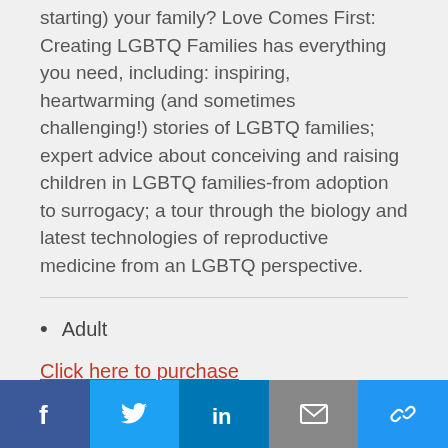starting) your family? Love Comes First: Creating LGBTQ Families has everything you need, including: inspiring, heartwarming (and sometimes challenging!) stories of LGBTQ families; expert advice about conceiving and raising children in LGBTQ families-from adoption to surrogacy; a tour through the biology and latest technologies of reproductive medicine from an LGBTQ perspective.
Adult
Click here to purchase
Facebook Twitter LinkedIn Email Link